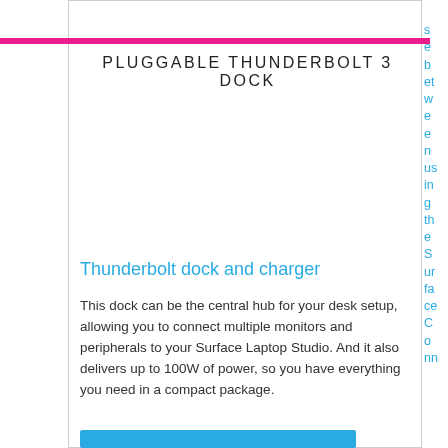PLUGGABLE THUNDERBOLT 3 DOCK
Thunderbolt dock and charger
This dock can be the central hub for your desk setup, allowing you to connect multiple monitors and peripherals to your Surface Laptop Studio. And it also delivers up to 100W of power, so you have everything you need in a compact package.
s e b et w e e n us in g th e S ur fa ce C o nn